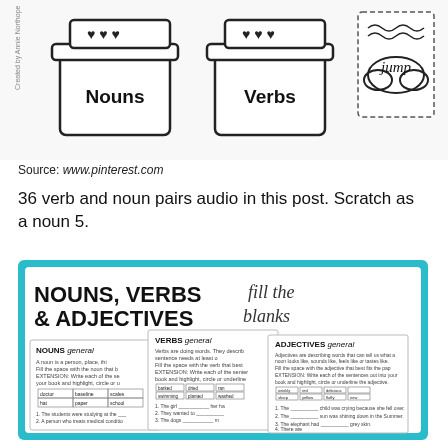[Figure (illustration): Illustrated worksheet showing flower pots labeled 'Nouns' and 'Verbs', and a card with the word 'jump' on a cloud background, used as educational sorting activity materials.]
Source: www.pinterest.com
36 verb and noun pairs audio in this post. Scratch as a noun 5.
[Figure (illustration): Educational worksheet preview image with teal border titled 'NOUNS, VERBS & ADJECTIVES fill the blanks', showing three overlapping worksheet pages for Nouns general, Verbs general, and Adjectives general fill-in-the-blank exercises.]